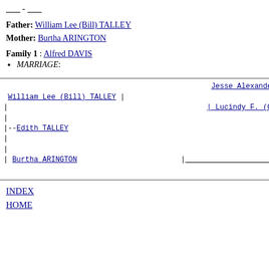____ - ____
Father: William Lee (Bill) TALLEY
Mother: Burtha ARINGTON
Family 1 : Alfred DAVIS
MARRIAGE:
[Figure (other): Genealogy pedigree tree showing William Lee (Bill) TALLEY connected to Jesse Alexander (Jack) TA[LLEY] and Lucindy F. (Cindy) WARD, and Edith TALLEY connected to Burtha ARINGTON]
INDEX
HOME